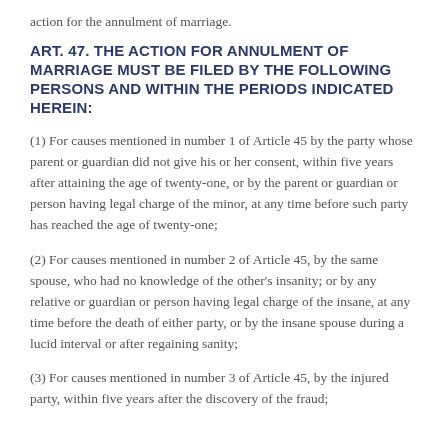action for the annulment of marriage.
ART. 47. THE ACTION FOR ANNULMENT OF MARRIAGE MUST BE FILED BY THE FOLLOWING PERSONS AND WITHIN THE PERIODS INDICATED HEREIN:
(1) For causes mentioned in number 1 of Article 45 by the party whose parent or guardian did not give his or her consent, within five years after attaining the age of twenty-one, or by the parent or guardian or person having legal charge of the minor, at any time before such party has reached the age of twenty-one;
(2) For causes mentioned in number 2 of Article 45, by the same spouse, who had no knowledge of the other's insanity; or by any relative or guardian or person having legal charge of the insane, at any time before the death of either party, or by the insane spouse during a lucid interval or after regaining sanity;
(3) For causes mentioned in number 3 of Article 45, by the injured party, within five years after the discovery of the fraud;